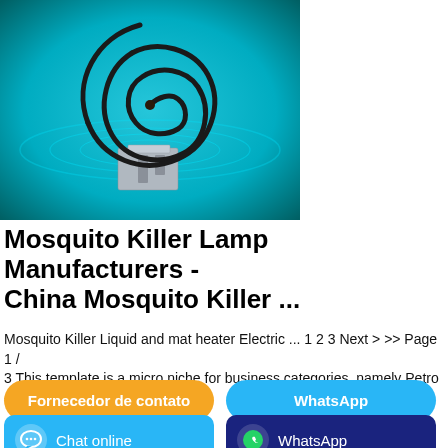[Figure (photo): A mosquito coil with a metal stand on a teal/turquoise water surface with ripples]
Mosquito Killer Lamp Manufacturers - China Mosquito Killer ...
Mosquito Killer Liquid and mat heater Electric ... 1 2 3 Next > >> Page 1 / 3 This template is a micro niche for business categories, namely Petro -…
Fornecedor de contato
WhatsApp
Chat online
WhatsApp